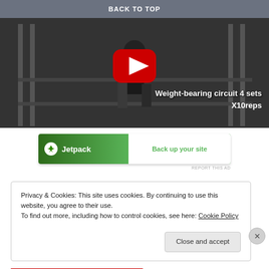BACK TO TOP
[Figure (screenshot): YouTube video thumbnail showing a person doing weight-bearing exercises in a gym with a red play button overlay. Text reads: Weight-bearing circuit 4 sets X10reps]
[Figure (screenshot): Jetpack advertisement banner: Jetpack logo on left with lightning bolt icon, 'Back up your site' text on right in green]
REPORT THIS AD
Privacy & Cookies: This site uses cookies. By continuing to use this website, you agree to their use.
To find out more, including how to control cookies, see here: Cookie Policy
Close and accept